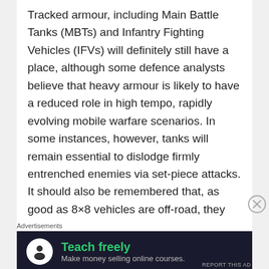Tracked armour, including Main Battle Tanks (MBTs) and Infantry Fighting Vehicles (IFVs) will definitely still have a place, although some defence analysts believe that heavy armour is likely to have a reduced role in high tempo, rapidly evolving mobile warfare scenarios. In some instances, however, tanks will remain essential to dislodge firmly entrenched enemies via set-piece attacks. It should also be remembered that, as good as 8×8 vehicles are off-road, they cannot match tracked vehicles when negotiating the most extreme terrains. So we will still need a mix of wheels and tracks.
[Figure (other): Advertisement banner with dark background showing 'Teach freely – Make money selling online courses.' with a white circle icon containing a person silhouette.]